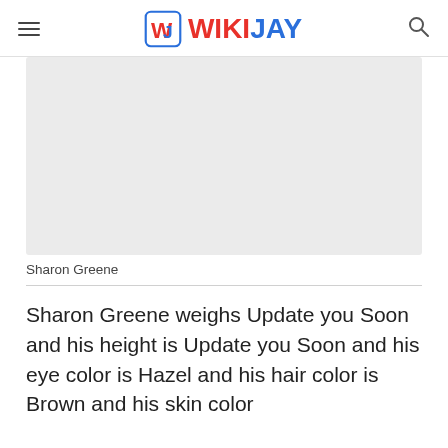WIKIJAY
[Figure (photo): Placeholder image area for Sharon Greene, shown as a light gray rectangle]
Sharon Greene
Sharon Greene weighs Update you Soon and his height is Update you Soon and his eye color is Hazel and his hair color is Brown and his skin color